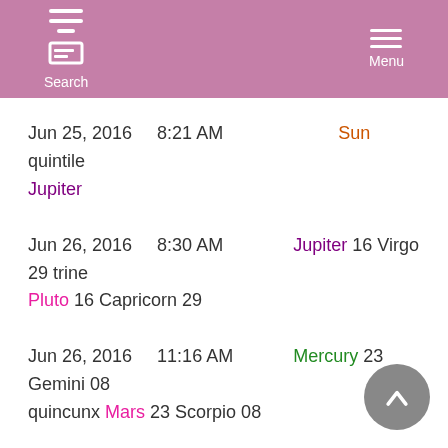Search   Menu
Jun 25, 2016    8:21 AM    Sun quintile Jupiter
Jun 26, 2016    8:30 AM    Jupiter 16 Virgo 29 trine Pluto 16 Capricorn 29
Jun 26, 2016    11:16 AM    Mercury 23 Gemini 08 quincunx Mars 23 Scorpio 08
Jun 26, 2016    10:31 PM    Mercury 24 Gemini 05 sextile Uranus 24 Aries 05